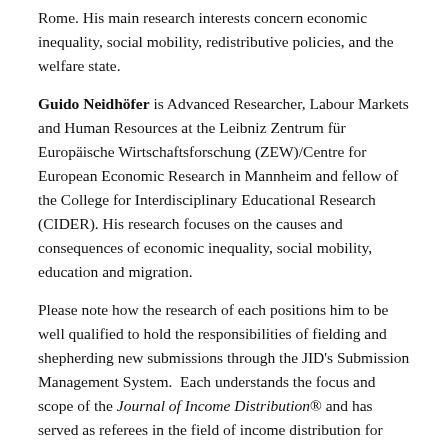Rome. His main research interests concern economic inequality, social mobility, redistributive policies, and the welfare state.
Guido Neidhöfer is Advanced Researcher, Labour Markets and Human Resources at the Leibniz Zentrum für Europäische Wirtschaftsforschung (ZEW)/Centre for European Economic Research in Mannheim and fellow of the College for Interdisciplinary Educational Research (CIDER). His research focuses on the causes and consequences of economic inequality, social mobility, education and migration.
Please note how the research of each positions him to be well qualified to hold the responsibilities of fielding and shepherding new submissions through the JID's Submission Management System. Each understands the focus and scope of the Journal of Income Distribution® and has served as referees in the field of income distribution for numerous related journals.